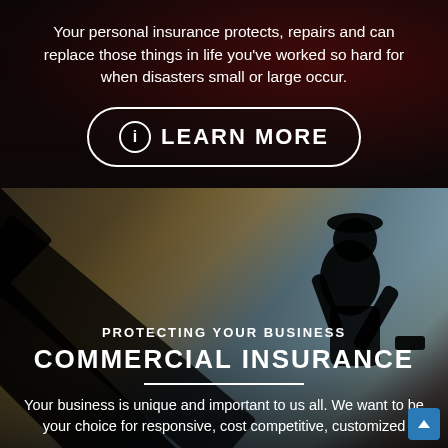Your personal insurance protects, repairs and can replace those things in life you've worked so hard for when disasters small or large occur.
[Figure (other): LEARN MORE button with info icon, white border rounded rectangle on dark background]
[Figure (photo): Silhouette of a construction worker wearing a hard hat and holding a hammer against a twilight sky background with dark structural beams in the foreground]
PROTECTING YOUR BUSINESS
COMMERCIAL INSURANCE
Your business is unique and important to us all. We want to be your choice for responsive, cost competitive, customized